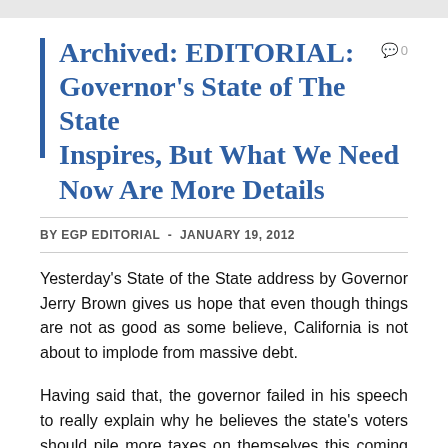Archived: EDITORIAL: Governor's State of The State Inspires, But What We Need Now Are More Details
BY EGP EDITORIAL  -  JANUARY 19, 2012
Yesterday's State of the State address by Governor Jerry Brown gives us hope that even though things are not as good as some believe, California is not about to implode from massive debt.
Having said that, the governor failed in his speech to really explain why he believes the state's voters should pile more taxes on themselves this coming fall, given that the